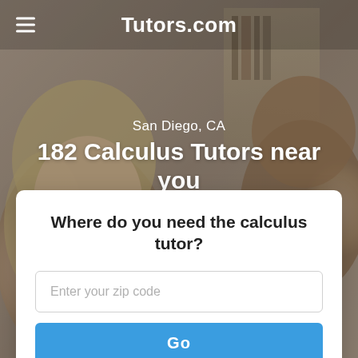[Figure (photo): Background photo of two people (a woman smiling and another person) in a warm, blurred indoor setting, overlaid with a dark semi-transparent tint.]
Tutors.com
San Diego, CA
182 Calculus Tutors near you
Where do you need the calculus tutor?
Enter your zip code
Go